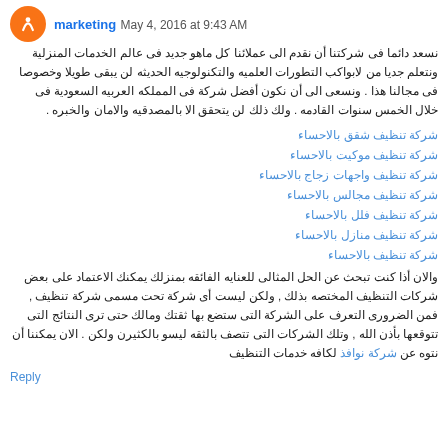marketing May 4, 2016 at 9:43 AM
نسعد دائما فى شركتنا أن نقدم الى عملائنا كل ماهو جديد فى عالم الخدمات المنزلية ونتعلم جديا من لابواكب التطورات العلميه والتكنولوجيه الحديثه لن يبقى طويلا وخصوصا فى مجالنا هذا . ونسعى الى أن نكون أفضل شركة فى المملكه العربيه السعودية فى خلال الخمس سنوات القادمه . ولك ذلك لن يتحقق الا بالمصدقيه والامان والخبره .
شركة تنظيف شقق بالاحساء
شركة تنظيف موكيت بالاحساء
شركة تنظيف واجهات زجاج بالاحساء
شركة تنظيف مجالس بالاحساء
شركة تنظيف فلل بالاحساء
شركة تنظيف منازل بالاحساء
شركة تنظيف بالاحساء
والان أذا كنت تبحث عن الحل المثالى للعنايه الفائقه بمنزلك يمكنك الاعتماد على بعض شركات التنظيف المختصه بذلك , ولكن ليست أى شركة تحت مسمى شركة تنظيف , فمن الضرورى التعرف على الشركة التى ستضع بها ثقتك ومالك حتى ترى النتائج التى تتوقعها بأذن الله , وتلك الشركات التى تتصف بالثقه ليسو بالكثيرن ولكن . الان يمكننا أن نتوه عن شركة نوافذ لكافه خدمات التنظيف
Reply